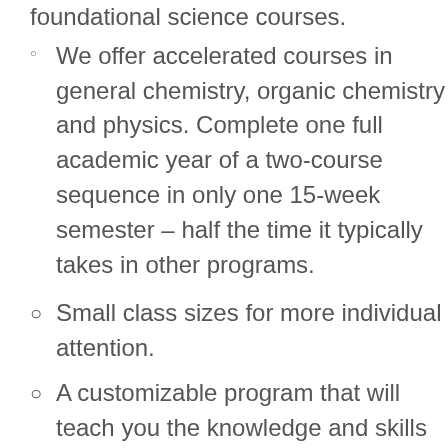foundational science courses.
We offer accelerated courses in general chemistry, organic chemistry and physics. Complete one full academic year of a two-course sequence in only one 15-week semester – half the time it typically takes in other programs.
Small class sizes for more individual attention.
A customizable program that will teach you the knowledge and skills you need to enter a human biology-related profession.
Recorded lectures available for added flexibility.